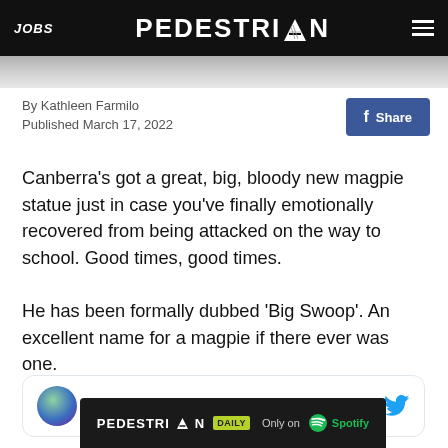JOBS | PEDESTRIAN | (menu)
[Figure (photo): Partial image strip at top of article]
By Kathleen Farmilo
Published March 17, 2022
f Share
Canberra's got a great, big, bloody new magpie statue just in case you've finally emotionally recovered from being attacked on the way to school. Good times, good times.
He has been formally dubbed 'Big Swoop'. An excellent name for a magpie if there ever was one.
[Figure (screenshot): Embedded tweet card showing user 'ari' with Twitter bird icon]
[Figure (infographic): PEDESTRIAN DAILY ad banner — Only on Spotify]